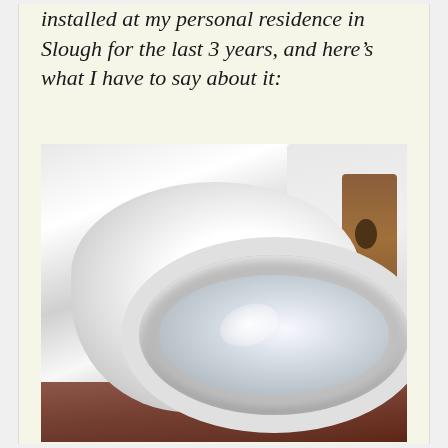installed at my personal residence in Slough for the last 3 years, and here's what I have to say about it:
[Figure (photo): Photo of a white ceramic toilet bowl without lid, viewed from the side and slightly above, sitting on a red/terracotta floor with a wooden panel and plastic sheeting visible in the background.]